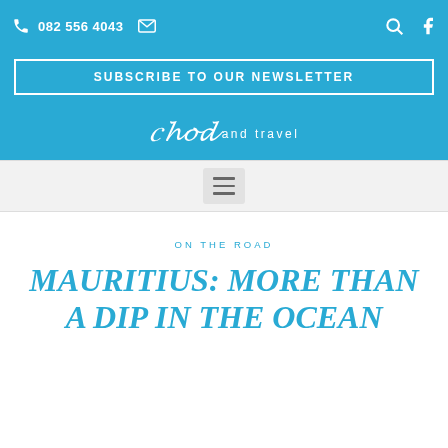082 556 4043
[Figure (logo): Food and travel magazine logo in italic script with 'and travel' text]
[Figure (other): Hamburger menu button in gray box]
ON THE ROAD
MAURITIUS: MORE THAN A DIP IN THE OCEAN